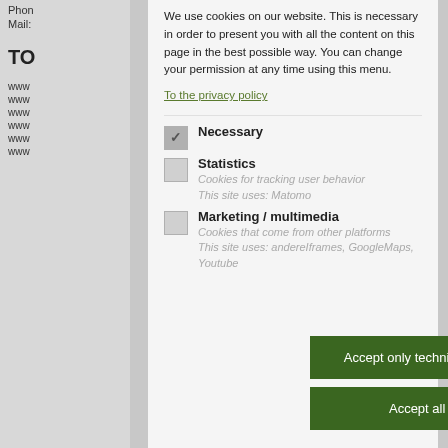Phon
Mail:
TO
www
www
www
www
www
www
We use cookies on our website. This is necessary in order to present you with all the content on this page in the best possible way. You can change your permission at any time using this menu.
To the privacy policy
Necessary
Statistics
Cookies for tracking user behavior
This site uses: Matomo
Marketing / multimedia
Cookies that come from other platforms
This site uses: andereIframes, GoogleMaps, Youtube
Accept only technically necessary
Accept all cookies